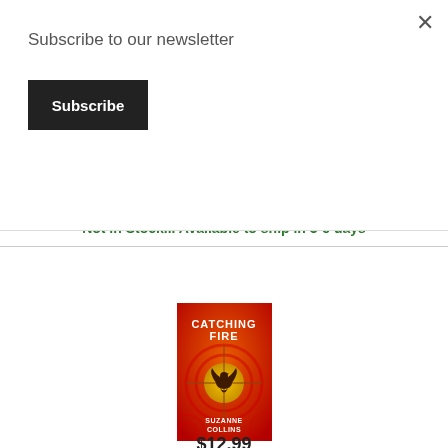Subscribe to our newsletter
Subscribe
Not in Stock... Available to ship in 3-5 days
[Figure (photo): Book cover of Catching Fire by Suzanne Collins. Red background with a mockingjay bird inside a circular target/crosshair design. Title 'CATCHING FIRE' in white text at top, 'SUZANNE COLLINS' at bottom.]
Catching Fire (Hunger Games, Book Two) (The Hunger Games #2) (Paperback) By Suzanne Collins
$12.99